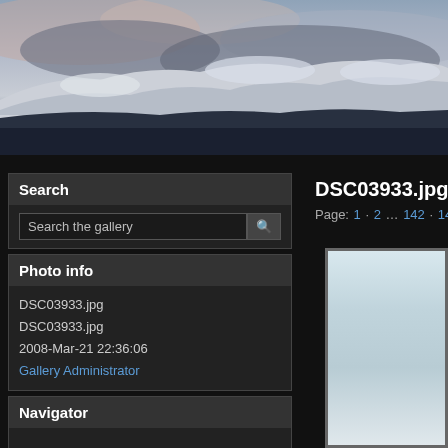[Figure (photo): Winter landscape panorama with snow-covered hills, cloudy sky with pink/purple tones, and flat fields in the foreground]
DSC03933.jpg
Page: 1 · 2 … 142 · 143 · 144 · 145 · 146 · 14…
Search
Search the gallery
Photo info
DSC03933.jpg
DSC03933.jpg
2008-Mar-21 22:36:06
Gallery Administrator
Navigator
[Figure (photo): Three thumbnail images showing landscape/nature scenes]
[Figure (photo): Main photo area showing a light sky/overcast scene]